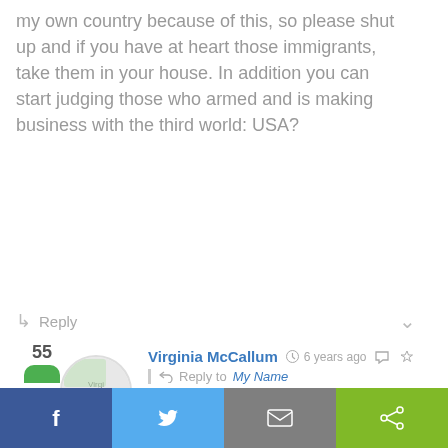my own country because of this, so please shut up and if you have at heart those immigrants, take them in your house. In addition you can start judging those who armed and is making business with the third world: USA?
Reply
[Figure (photo): Circular avatar image of Virginia McCallum]
Virginia McCallum  6 years ago  Reply to My Name
Re US arming terrorists. (1) most popular gun used by all insurgents world wide is
[Figure (infographic): Bottom share bar with Facebook, Twitter, Email, and Share buttons]